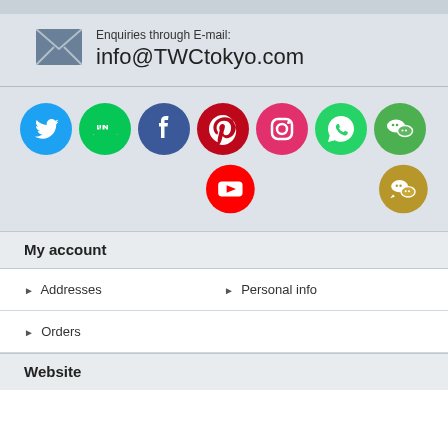Enquiries through E-mail:
info@TWCtokyo.com
[Figure (infographic): Row of social media icons: Twitter (cyan), LINE (green), Facebook (dark blue), Pinterest (dark red), Instagram (pink), WhatsApp (green), WeChat (green); second row: YouTube (red), and a gold WeChat/chat icon]
My account
Addresses
Personal info
Orders
Website